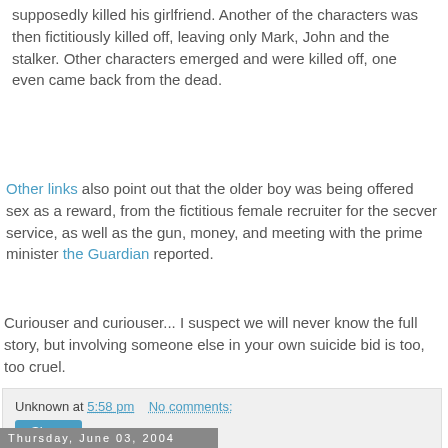supposedly killed his girlfriend. Another of the characters was then fictitiously killed off, leaving only Mark, John and the stalker. Other characters emerged and were killed off, one even came back from the dead.
Other links also point out that the older boy was being offered sex as a reward, from the fictitious female recruiter for the secver service, as well as the gun, money, and meeting with the prime minister the Guardian reported.
Curiouser and curiouser... I suspect we will never know the full story, but involving someone else in your own suicide bid is too, too cruel.
Unknown at 5:58 pm   No comments:
Thursday, June 03, 2004